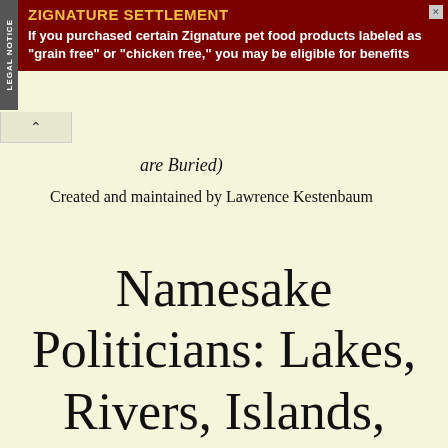[Figure (other): Advertisement banner for Zignature Settlement legal notice. Dark red/maroon background with yellow title text 'ZIGNATURE SETTLEMENT' and white body text: 'If you purchased certain Zignature pet food products labeled as "grain free" or "chicken free," you may be eligible for benefits'. A gray vertical 'LEGAL NOTICE' tab is on the left side.]
are Buried)
Created and maintained by Lawrence Kestenbaum
Namesake Politicians: Lakes, Rivers, Islands, Dams